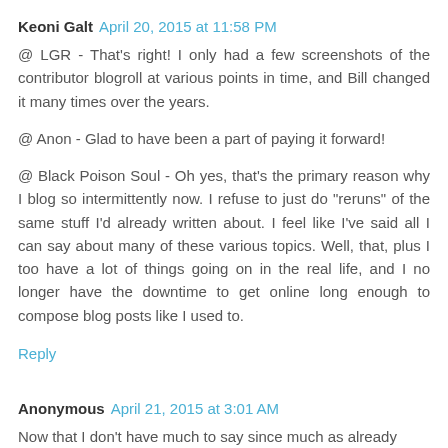Keoni Galt  April 20, 2015 at 11:58 PM
@ LGR - That's right! I only had a few screenshots of the contributor blogroll at various points in time, and Bill changed it many times over the years.
@ Anon - Glad to have been a part of paying it forward!
@ Black Poison Soul - Oh yes, that's the primary reason why I blog so intermittently now. I refuse to just do "reruns" of the same stuff I'd already written about. I feel like I've said all I can say about many of these various topics. Well, that, plus I too have a lot of things going on in the real life, and I no longer have the downtime to get online long enough to compose blog posts like I used to.
Reply
Anonymous  April 21, 2015 at 3:01 AM
Now that I don't have much to say since much as already